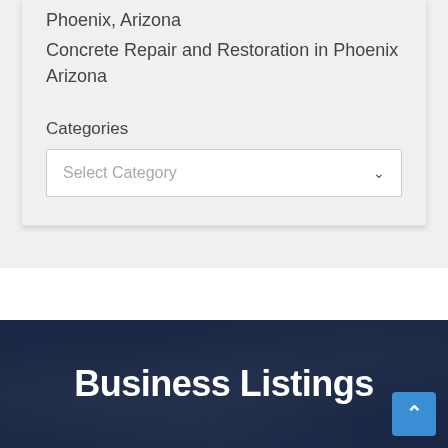Phoenix, Arizona
Concrete Repair and Restoration in Phoenix Arizona
Categories
Select Category
Business Listings